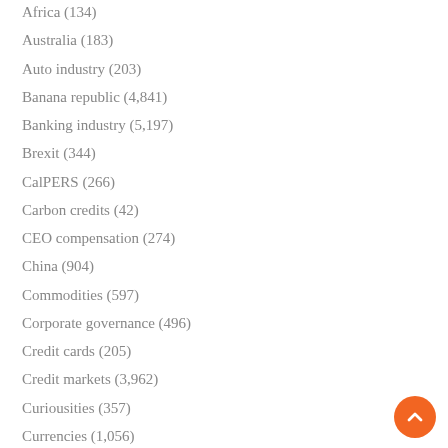Africa (134)
Australia (183)
Auto industry (203)
Banana republic (4,841)
Banking industry (5,197)
Brexit (344)
CalPERS (266)
Carbon credits (42)
CEO compensation (274)
China (904)
Commodities (597)
Corporate governance (496)
Credit cards (205)
Credit markets (3,962)
Curiousities (357)
Currencies (1,056)
Derivatives (728)